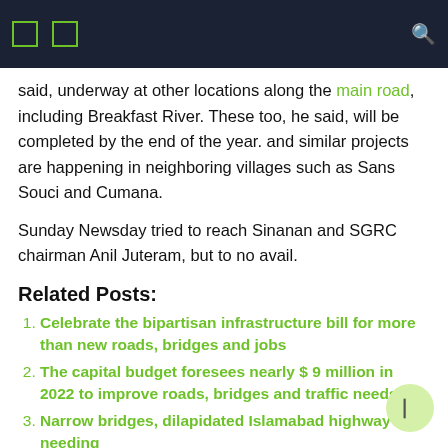said, underway at other locations along the main road, including Breakfast River. These too, he said, will be completed by the end of the year. and similar projects are happening in neighboring villages such as Sans Souci and Cumana.
Sunday Newsday tried to reach Sinanan and SGRC chairman Anil Juteram, but to no avail.
Related Posts:
Celebrate the bipartisan infrastructure bill for more than new roads, bridges and jobs
The capital budget foresees nearly $ 9 million in 2022 to improve roads, bridges and traffic needs
Narrow bridges, dilapidated Islamabad highway needing